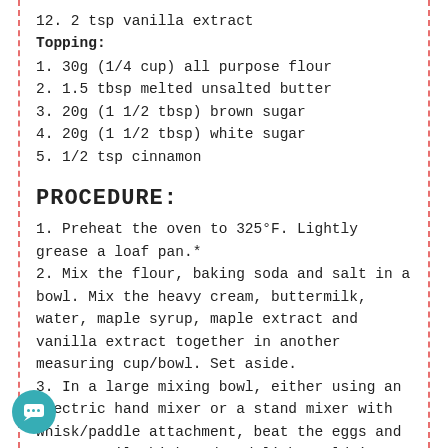12. 2 tsp vanilla extract
Topping:
1. 30g (1/4 cup) all purpose flour
2. 1.5 tbsp melted unsalted butter
3. 20g  (1 1/2 tbsp) brown sugar
4. 20g (1 1/2 tbsp) white sugar
5. 1/2 tsp cinnamon
PROCEDURE:
1. Preheat the oven to 325°F. Lightly grease a loaf pan.*
2. Mix the flour, baking soda and salt in a bowl. Mix the heavy cream, buttermilk, water, maple syrup, maple extract and vanilla extract together in another measuring cup/bowl. Set aside.
3. In a large mixing bowl, either using an electric hand mixer or a stand mixer with whisk/paddle attachment, beat the eggs and sugar until thickened and light gold in color, about 2 minutes at medium-high speed.
4. Slowly add the melted butter into the mixing bowl – by hand